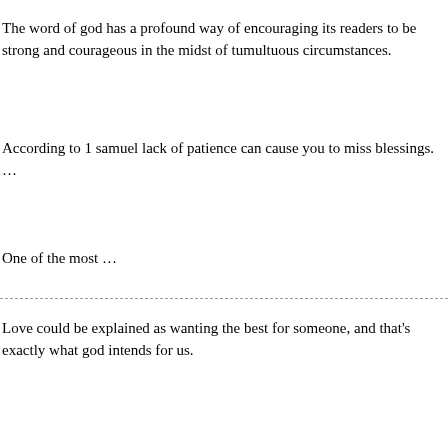The word of god has a profound way of encouraging its readers to be strong and courageous in the midst of tumultuous circumstances.
According to 1 samuel lack of patience can cause you to miss blessings. …
One of the most …
Love could be explained as wanting the best for someone, and that's exactly what god intends for us.